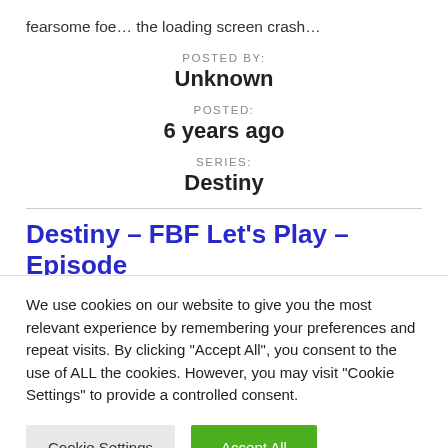fearsome foe… the loading screen crash…
POSTED BY:
Unknown
POSTED:
6 years ago
SERIES:
Destiny
Destiny – FBF Let's Play – Episode
We use cookies on our website to give you the most relevant experience by remembering your preferences and repeat visits. By clicking "Accept All", you consent to the use of ALL the cookies. However, you may visit "Cookie Settings" to provide a controlled consent.